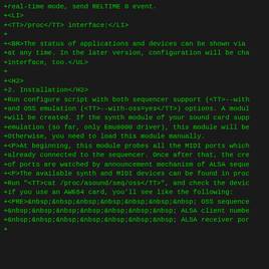+real-time mode, send RELTIME 0 event.
+<LI>
+<TT>/proc</TT> interface:</LI>
+
+<BR>The status of applications and devices can be shown via
+at any time. In the later version, configuration will be cha
+interface, too.</UL>
+
+<H2>
+2. Installation</H2>
+Run configure script with both sequencer support (<TT>--with
+and OSS emulation (<TT>--with-oss=yes</TT>) options. A modul
+will be created. If the synth module of your sound card supp
+emulation (so far, only Emu8000 driver), this module will be
+Otherwise, you need to load this module manually.
+<P>At beginning, this module probes all the MIDI ports which
+already connected to the sequencer. Once after that, the cre
+of ports are watched by announcement mechanism of ALSA seque
+<P>The available synth and MIDI devices can be found in proc
+Run "<TT>cat /proc/asound/seq/oss</TT>", and check the devic
+if you use an AWE64 card, you'll see like the following:
+<PRE>&nbsp;&nbsp;&nbsp;&nbsp;&nbsp;&nbsp;&nbsp; OSS sequence
+&nbsp;&nbsp;&nbsp;&nbsp;&nbsp;&nbsp;&nbsp; ALSA client numbe
+&nbsp;&nbsp;&nbsp;&nbsp;&nbsp;&nbsp;&nbsp; ALSA receiver por
+